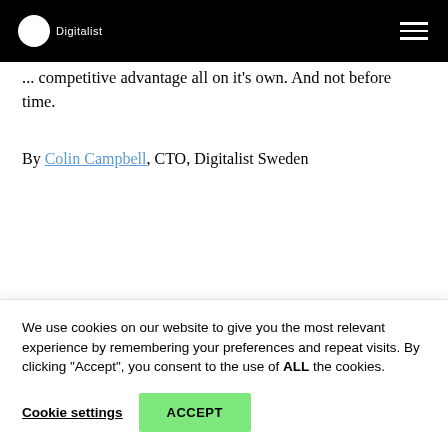Digitalist
... competitive advantage all on it's own. And not before time.
By Colin Campbell, CTO, Digitalist Sweden
Share the story
We use cookies on our website to give you the most relevant experience by remembering your preferences and repeat visits. By clicking "Accept", you consent to the use of ALL the cookies.